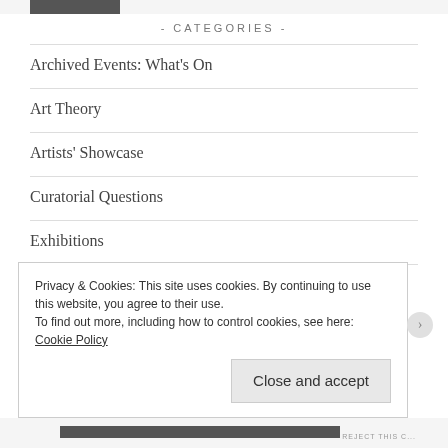- CATEGORIES -
Archived Events: What's On
Art Theory
Artists' Showcase
Curatorial Questions
Exhibitions
Privacy & Cookies: This site uses cookies. By continuing to use this website, you agree to their use.
To find out more, including how to control cookies, see here: Cookie Policy
Close and accept